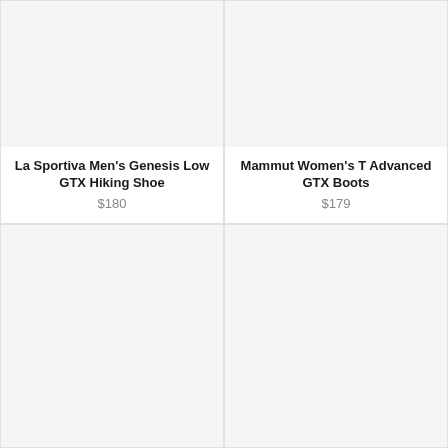[Figure (photo): Product image placeholder for La Sportiva Men's Genesis Low GTX Hiking Shoe]
La Sportiva Men's Genesis Low GTX Hiking Shoe
$180
[Figure (photo): Product image placeholder for Mammut Women's T Advanced GTX Boots]
Mammut Women's T Advanced GTX Boots
$179
[Figure (photo): Product image placeholder, bottom-left card]
[Figure (photo): Product image placeholder, bottom-right card]